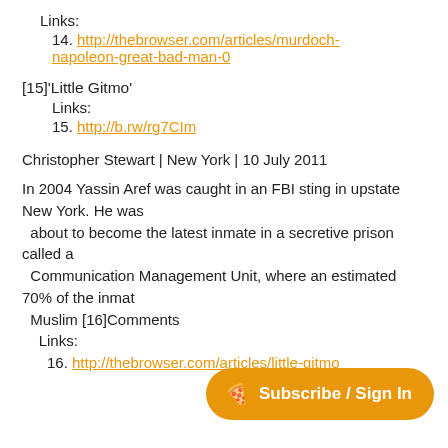Links:
14. http://thebrowser.com/articles/murdoch-napoleon-great-bad-man-0
[15]'Little Gitmo'
Links:
15. http://b.rw/rg7CIm
Christopher Stewart | New York | 10 July 2011
In 2004 Yassin Aref was caught in an FBI sting in upstate New York. He was about to become the latest inmate in a secretive prison called a Communication Management Unit, where an estimated 70% of the inmate Muslim [16]Comments Links: 16. http://thebrowser.com/articles/little-gitmo